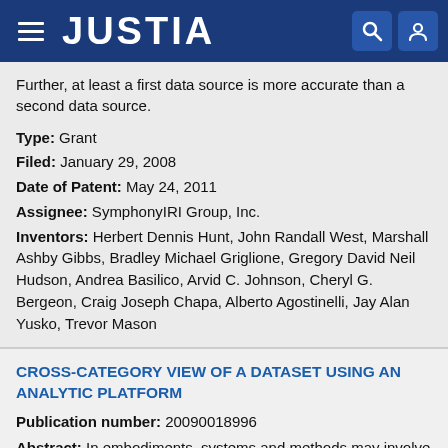JUSTIA
Further, at least a first data source is more accurate than a second data source.
Type: Grant
Filed: January 29, 2008
Date of Patent: May 24, 2011
Assignee: SymphonyIRI Group, Inc.
Inventors: Herbert Dennis Hunt, John Randall West, Marshall Ashby Gibbs, Bradley Michael Griglione, Gregory David Neil Hudson, Andrea Basilico, Arvid C. Johnson, Cheryl G. Bergeon, Craig Joseph Chapa, Alberto Agostinelli, Jay Alan Yusko, Trevor Mason
CROSS-CATEGORY VIEW OF A DATASET USING AN ANALYTIC PLATFORM
Publication number: 20090018996
Abstract: In embodiments, systems and methods may involve using a platform as disclosed herein for